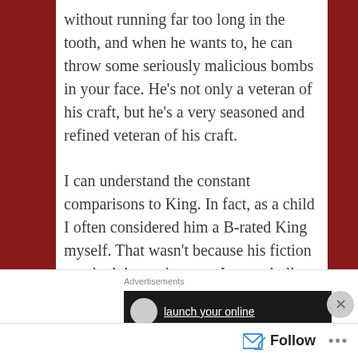without running far too long in the tooth, and when he wants to, he can throw some seriously malicious bombs in your face. He’s not only a veteran of his craft, but he’s a very seasoned and refined veteran of his craft.
I can understand the constant comparisons to King. In fact, as a child I often considered him a B-rated King myself. That wasn’t because his fiction was bad, it was because I was wholly consumed by King’s writing and anything else put in front of me was, in my
Advertisements
launch your online
Follow